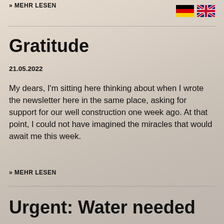>> MEHR LESEN
[Figure (illustration): German flag and UK flag icons in the top right corner]
Gratitude
21.05.2022
My dears, I'm sitting here thinking about when I wrote the newsletter here in the same place, asking for support for our well construction one week ago. At that point, I could not have imagined the miracles that would await me this week.
>> MEHR LESEN
Urgent: Water needed